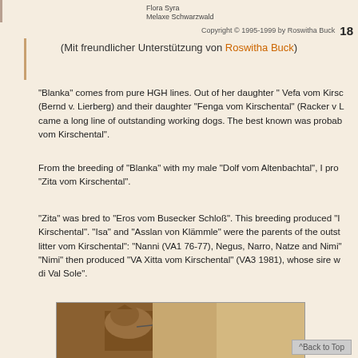Flora Syra
Melaxe Schwarzwald
Copyright © 1995-1999 by Roswitha Buck   18
(Mit freundlicher Unterstützung von Roswitha Buck)
"Blanka" comes from pure HGH lines. Out of her daughter " Vefa vom Kirsc (Bernd v. Lierberg) and their daughter "Fenga vom Kirschental" (Racker v L came a long line of outstanding working dogs. The best known was probab vom Kirschental".
From the breeding of "Blanka" with my male "Dolf vom Altenbachtal", I pro "Zita vom Kirschental".
"Zita" was bred to "Eros vom Busecker Schloß". This breeding produced "I Kirschental". "Isa" and "Asslan von Klämmle" were the parents of the outst litter vom Kirschental": "Nanni (VA1 76-77), Negus, Narro, Natze and Nimi "Nimi" then produced "VA Xitta vom Kirschental" (VA3 1981), whose sire w di Val Sole".
[Figure (photo): A German Shepherd dog on a leash, photographed outdoors against a golden/brown background.]